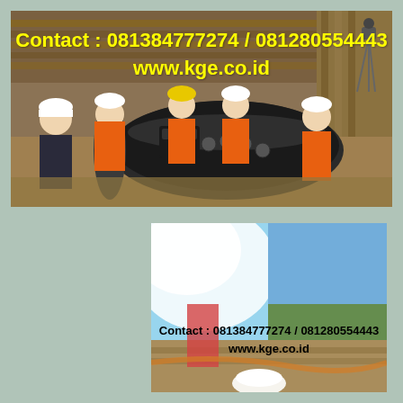[Figure (photo): Workers in orange and white safety gear working on a large black pipeline in a excavated trench, with wooden shoring walls. A surveying instrument on tripod is visible in background.]
Contact : 081384777274 / 081280554443
www.kge.co.id
[Figure (photo): Blurry outdoor scene with bright light, figures in foreground including person in red pants and white hard hat, with blue sky and trees in background.]
Contact : 081384777274 / 081280554443
www.kge.co.id